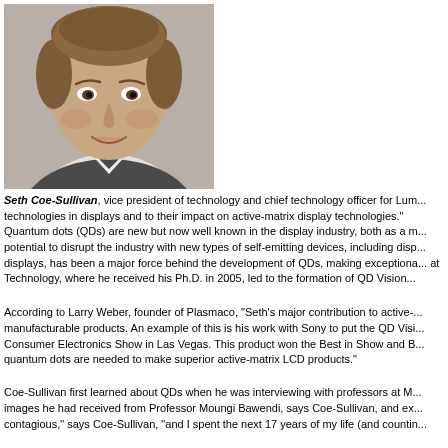[Figure (photo): Headshot of Seth Coe-Sullivan, a man in a dark blazer and white shirt, smiling, gray background]
Seth Coe-Sullivan, vice president of technology and chief technology officer for Lum... technologies in displays and to their impact on active-matrix display technologies."
Quantum dots (QDs) are new but now well known in the display industry, both as a m... potential to disrupt the industry with new types of self-emitting devices, including disp... displays, has been a major force behind the development of QDs, making exceptiona... at Technology, where he received his Ph.D. in 2005, led to the formation of QD Vision
According to Larry Weber, founder of Plasmaco, “Seth’s major contribution to active-... manufacturable products. An example of this is his work with Sony to put the QD Visi... Consumer Electronics Show in Las Vegas. This product won the Best in Show and B... quantum dots are needed to make superior active-matrix LCD products.”
Coe-Sullivan first learned about QDs when he was interviewing with professors at M... images he had received from Professor Moungi Bawendi, says Coe-Sullivan, and ex... contagious,” says Coe-Sullivan, “and I spent the next 17 years of my life (and countin...